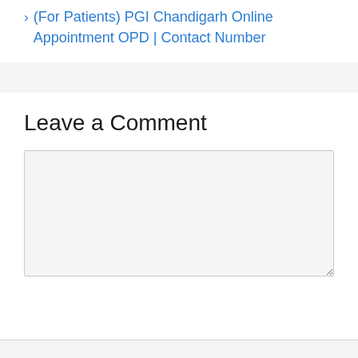(For Patients) PGI Chandigarh Online Appointment OPD | Contact Number
Leave a Comment